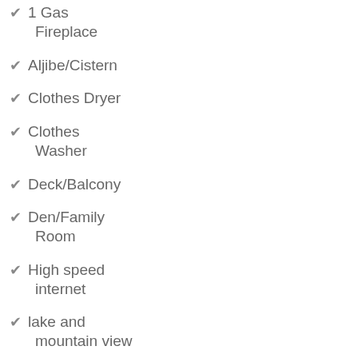✔ 1 Gas Fireplace
✔ Aljibe/Cistern
✔ Clothes Dryer
✔ Clothes Washer
✔ Deck/Balcony
✔ Den/Family Room
✔ High speed internet
✔ lake and mountain view
✔ Patio